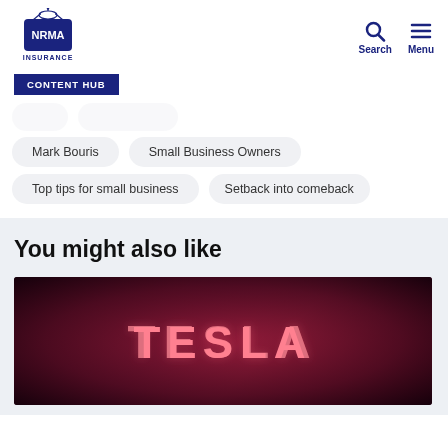NRMA Insurance — Search Menu
CONTENT HUB
Mark Bouris
Small Business Owners
Top tips for small business
Setback into comeback
You might also like
[Figure (photo): TESLA logo glowing in red/pink neon light on a dark background, close-up of a Tesla product]